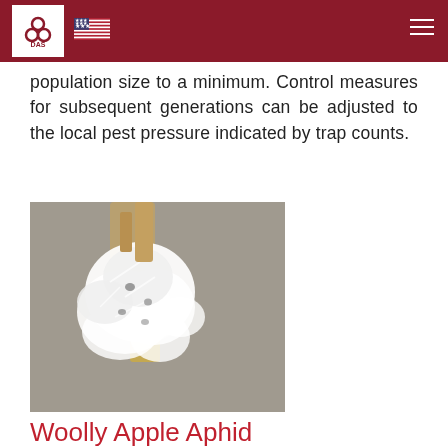DAS (logo) | US Flag | hamburger menu
population size to a minimum. Control measures for subsequent generations can be adjusted to the local pest pressure indicated by trap counts.
[Figure (photo): Close-up photograph of Woolly Apple Aphid colony on a plant stem, showing white fluffy/waxy coating characteristic of the pest]
Woolly Apple Aphid
Thursday, Feb 10, 2022